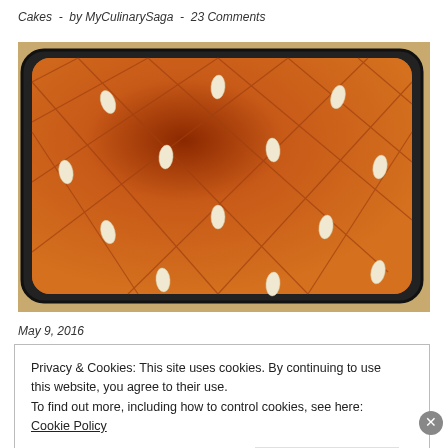Cakes  -  by MyCulinarySaga  -  23 Comments
[Figure (photo): A rectangular baking pan with a golden-brown cake topped with diamond scoring pattern and whole almonds placed at intersections, sitting on a wooden surface.]
May 9, 2016
Privacy & Cookies: This site uses cookies. By continuing to use this website, you agree to their use.
To find out more, including how to control cookies, see here: Cookie Policy
Close and accept